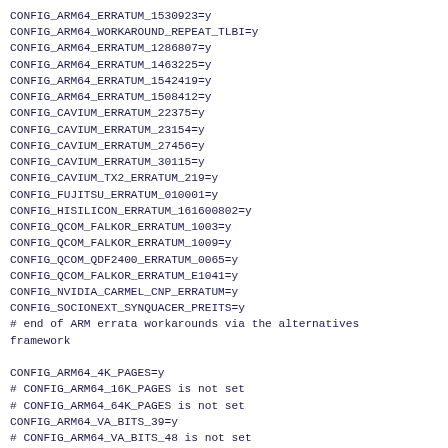CONFIG_ARM64_ERRATUM_1530923=y
CONFIG_ARM64_WORKAROUND_REPEAT_TLBI=y
CONFIG_ARM64_ERRATUM_1286807=y
CONFIG_ARM64_ERRATUM_1463225=y
CONFIG_ARM64_ERRATUM_1542419=y
CONFIG_ARM64_ERRATUM_1508412=y
CONFIG_CAVIUM_ERRATUM_22375=y
CONFIG_CAVIUM_ERRATUM_23154=y
CONFIG_CAVIUM_ERRATUM_27456=y
CONFIG_CAVIUM_ERRATUM_30115=y
CONFIG_CAVIUM_TX2_ERRATUM_219=y
CONFIG_FUJITSU_ERRATUM_010001=y
CONFIG_HISILICON_ERRATUM_161600802=y
CONFIG_QCOM_FALKOR_ERRATUM_1003=y
CONFIG_QCOM_FALKOR_ERRATUM_1009=y
CONFIG_QCOM_QDF2400_ERRATUM_0065=y
CONFIG_QCOM_FALKOR_ERRATUM_E1041=y
CONFIG_NVIDIA_CARMEL_CNP_ERRATUM=y
CONFIG_SOCIONEXT_SYNQUACER_PREITS=y
# end of ARM errata workarounds via the alternatives
framework

CONFIG_ARM64_4K_PAGES=y
# CONFIG_ARM64_16K_PAGES is not set
# CONFIG_ARM64_64K_PAGES is not set
CONFIG_ARM64_VA_BITS_39=y
# CONFIG_ARM64_VA_BITS_48 is not set
CONFIG_ARM64_VA_BITS=39
CONFIG_ARM64_PA_BITS_48=y
CONFIG_ARM64_PA_BITS=48